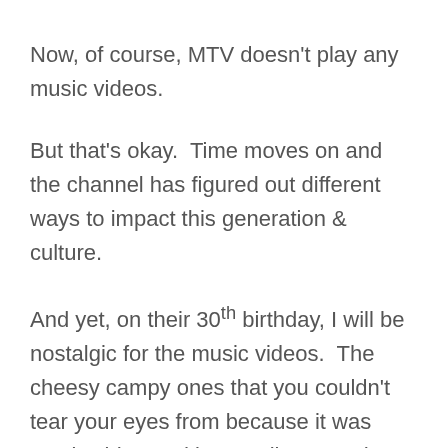Now, of course, MTV doesn't play any music videos.
But that's okay.  Time moves on and the channel has figured out different ways to impact this generation & culture.
And yet, on their 30th birthday, I will be nostalgic for the music videos.  The cheesy campy ones that you couldn't tear your eyes from because it was music video and it was all new and watchable and you couldn't wait to see what came